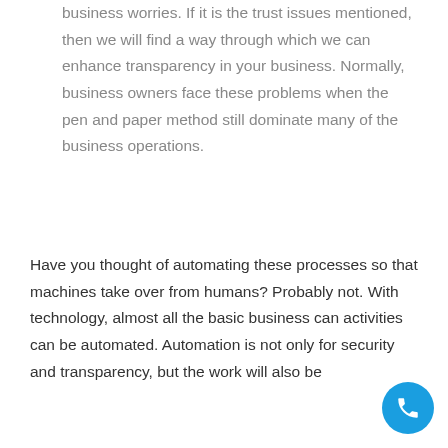business worries. If it is the trust issues mentioned, then we will find a way through which we can enhance transparency in your business. Normally, business owners face these problems when the pen and paper method still dominate many of the business operations.
Have you thought of automating these processes so that machines take over from humans? Probably not. With technology, almost all the basic business can activities can be automated. Automation is not only for security and transparency, but the work will also be
[Figure (other): Blue circular phone/call button icon in bottom-right corner]